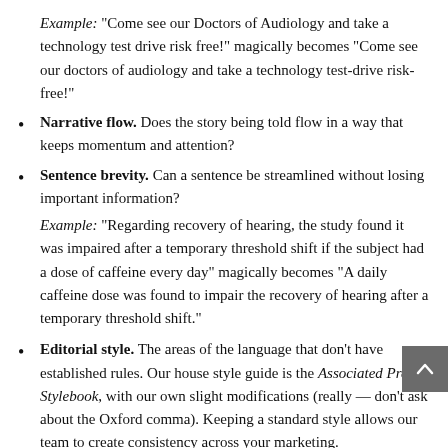Example: “Come see our Doctors of Audiology and take a technology test drive risk free!” magically becomes “Come see our doctors of audiology and take a technology test-drive risk-free!”
Narrative flow. Does the story being told flow in a way that keeps momentum and attention?
Sentence brevity. Can a sentence be streamlined without losing important information?
Example: “Regarding recovery of hearing, the study found it was impaired after a temporary threshold shift if the subject had a dose of caffeine every day” magically becomes “A daily caffeine dose was found to impair the recovery of hearing after a temporary threshold shift.”
Editorial style. The areas of the language that don’t have established rules. Our house style guide is the Associated Press Stylebook, with our own slight modifications (really — don’t ask about the Oxford comma). Keeping a standard style allows our team to create consistency across your marketing.